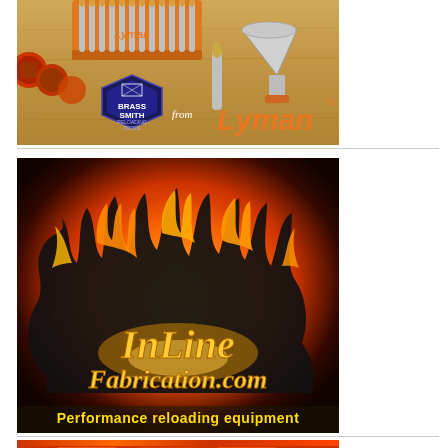[Figure (photo): BrassSmith from Lyman advertisement showing reloading tools including bullets in an orange tray, reloading dies, and a funnel on a wooden surface. The BrassSmith logo and Lyman brand name appear in orange.]
[Figure (photo): InLine Fabrication.com advertisement with a dramatic black flame silhouette against a fiery orange background. The text 'InLine Fabrication.com' appears in gold/yellow italic text, with 'Performance reloading equipment' at the bottom in yellow.]
[Figure (photo): Partial view of a third advertisement visible at the bottom of the page, showing red/orange coloring, appears to be another reloading equipment advertisement.]